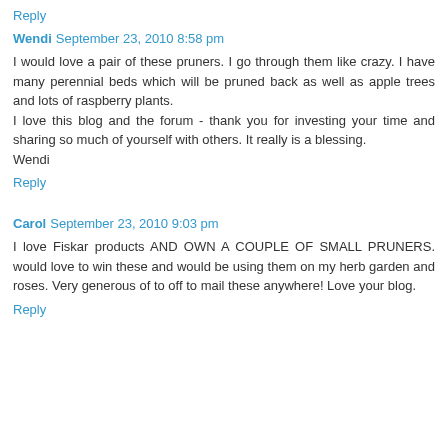Reply
Wendi  September 23, 2010 8:58 pm
I would love a pair of these pruners. I go through them like crazy. I have many perennial beds which will be pruned back as well as apple trees and lots of raspberry plants.
I love this blog and the forum - thank you for investing your time and sharing so much of yourself with others. It really is a blessing.
Wendi
Reply
Carol  September 23, 2010 9:03 pm
I love Fiskar products AND OWN A COUPLE OF SMALL PRUNERS. would love to win these and would be using them on my herb garden and roses. Very generous of to off to mail these anywhere! Love your blog.
Reply